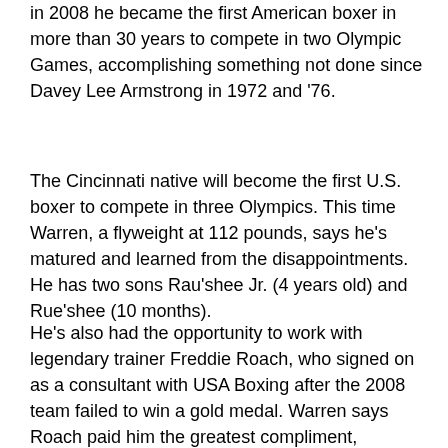in 2008 he became the first American boxer in more than 30 years to compete in two Olympic Games, accomplishing something not done since Davey Lee Armstrong in 1972 and '76.
The Cincinnati native will become the first U.S. boxer to compete in three Olympics. This time Warren, a flyweight at 112 pounds, says he's matured and learned from the disappointments. He has two sons Rau'shee Jr. (4 years old) and Rue'shee (10 months).
He's also had the opportunity to work with legendary trainer Freddie Roach, who signed on as a consultant with USA Boxing after the 2008 team failed to win a gold medal. Warren says Roach paid him the greatest compliment, comparing him to star boxer Manny Pacquiao, because of his speed and “the way I deliver my power.”